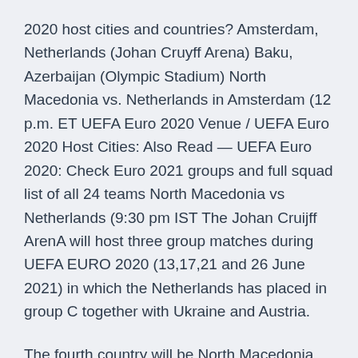2020 host cities and countries? Amsterdam, Netherlands (Johan Cruyff Arena) Baku, Azerbaijan (Olympic Stadium) North Macedonia vs. Netherlands in Amsterdam (12 p.m. ET UEFA Euro 2020 Venue / UEFA Euro 2020 Host Cities: Also Read — UEFA Euro 2020: Check Euro 2021 groups and full squad list of all 24 teams North Macedonia vs Netherlands (9:30 pm IST The Johan Cruijff ArenA will host three group matches during UEFA EURO 2020 (13,17,21 and 26 June 2021) in which the Netherlands has placed in group C together with Ukraine and Austria.
The fourth country will be North Macedonia. UEFA has decided to move EURO 2020 to summer 2021 due to COVID-19. UEFA EURO 2020 Matches Matches Group A. Italy ITA --Wales WAL North Macedonia-Netherlands